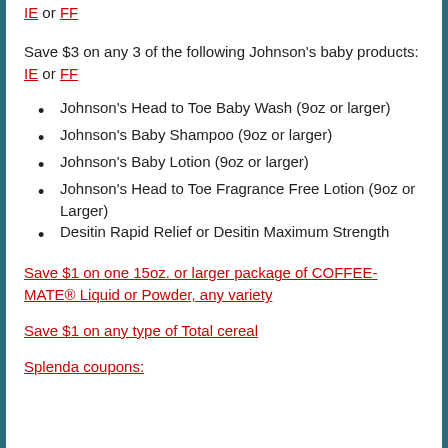IE or FF
Save $3 on any 3 of the following Johnson's baby products: IE or FF
Johnson's Head to Toe Baby Wash (9oz or larger)
Johnson's Baby Shampoo (9oz or larger)
Johnson's Baby Lotion (9oz or larger)
Johnson's Head to Toe Fragrance Free Lotion (9oz or Larger)
Desitin Rapid Relief or Desitin Maximum Strength
Save $1 on one 15oz. or larger package of COFFEE-MATE® Liquid or Powder, any variety
Save $1 on any type of Total cereal
Splenda coupons: